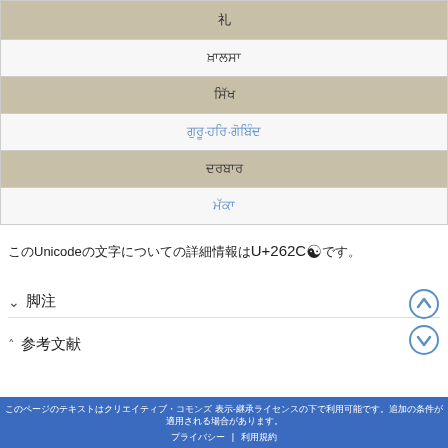| 礼 |
| ਖ਼ਾਲਸਾ |
| ਸਿੱਖ |
| ਗੁਰੂ·ਹਰਿ·ਗੋਬਿੰਦ |
| ਦਰਬਾਰ |
| ਮੱਕਾ |
このUnicodeの文字についての詳細情報はU+262Cです。
脚注
参考文献
フッターテキスト | フッターリンク